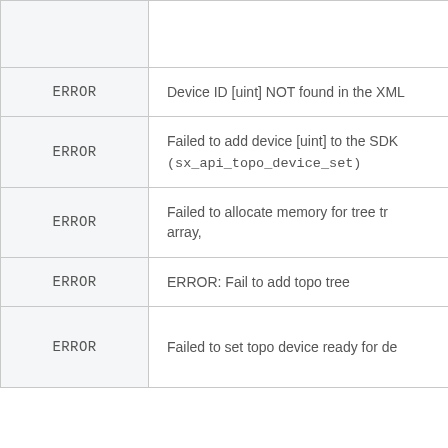| Level | Message |
| --- | --- |
| ERROR | Device ID [uint] NOT found in the XML |
| ERROR | Failed to add device [uint] to the SDK (sx_api_topo_device_set) |
| ERROR | Failed to allocate memory for tree tr array, |
| ERROR | ERROR: Fail to add topo tree |
| ERROR | Failed to set topo device ready for de |